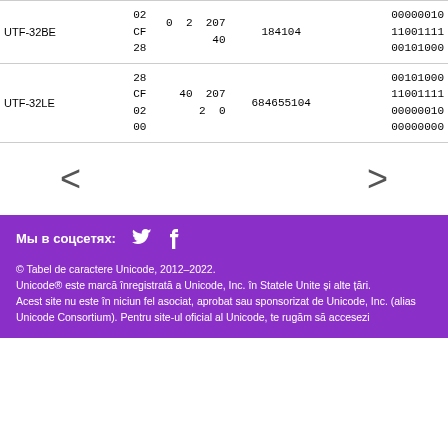| Encoding | Hex bytes | Dec bytes | Dec | Binary |
| --- | --- | --- | --- | --- |
| UTF-32BE | 02
CF
28 | 0  2  207
  40 | 184104 | 00000010
11001111
00101000 |
| UTF-32LE | 28
CF
02
00 | 40  207
   2  0 | 684655104 | 00101000
11001111
00000010
00000000 |
< >
Мы в соцсетях:
© Tabel de caractere Unicode, 2012–2022.
Unicode® este marcă înregistrată a Unicode, Inc. în Statele Unite și alte țări.
Acest site nu este în niciun fel asociat, aprobat sau sponsorizat de Unicode, Inc. (alias Unicode Consortium). Pentru site-ul oficial al Unicode, te rugăm să accesezi